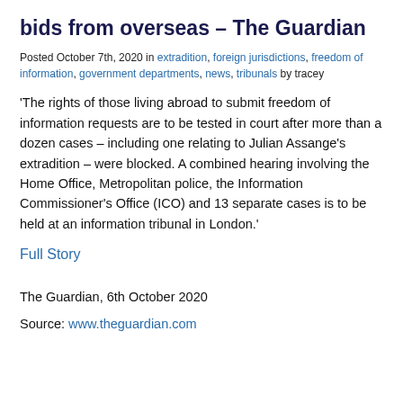bids from overseas – The Guardian
Posted October 7th, 2020 in extradition, foreign jurisdictions, freedom of information, government departments, news, tribunals by tracey
'The rights of those living abroad to submit freedom of information requests are to be tested in court after more than a dozen cases – including one relating to Julian Assange's extradition – were blocked. A combined hearing involving the Home Office, Metropolitan police, the Information Commissioner's Office (ICO) and 13 separate cases is to be held at an information tribunal in London.'
Full Story
The Guardian, 6th October 2020
Source: www.theguardian.com